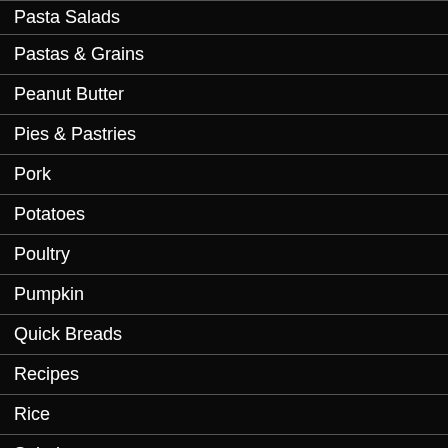Pasta Salads
Pastas & Grains
Peanut Butter
Pies & Pastries
Pork
Potatoes
Poultry
Pumpkin
Quick Breads
Recipes
Rice
Salads